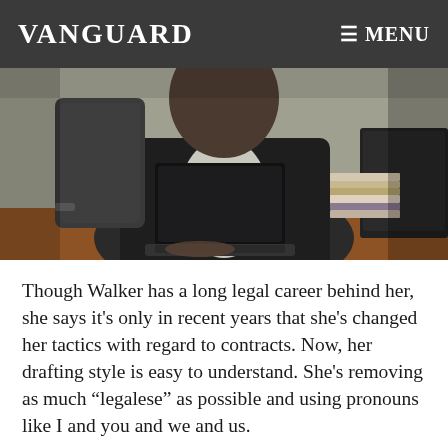VANGUARD  ☰ MENU
[Figure (photo): Person sitting at a desk working on a laptop in an office setting, partially visible from the midsection, wearing a dark blazer. Office chair and stacked papers/books visible in background.]
Though Walker has a long legal career behind her, she says it's only in recent years that she's changed her tactics with regard to contracts. Now, her drafting style is easy to understand. She's removing as much “legalese” as possible and using pronouns like I and you and we and us.
“I’m using a very simplified style of language that is just as effective but is not all this crazy stuff that